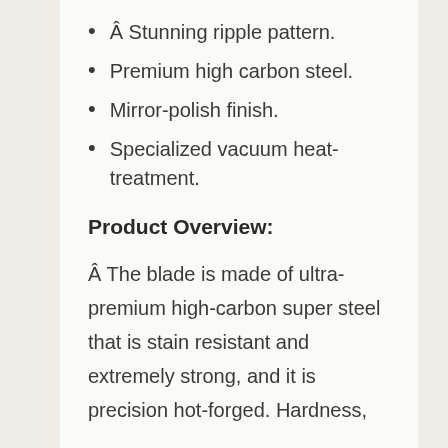Â Stunning ripple pattern.
Premium high carbon steel.
Mirror-polish finish.
Specialized vacuum heat-treatment.
Product Overview:
Â The blade is made of ultra-premium high-carbon super steel that is stain resistant and extremely strong, and it is precision hot-forged. Hardness,